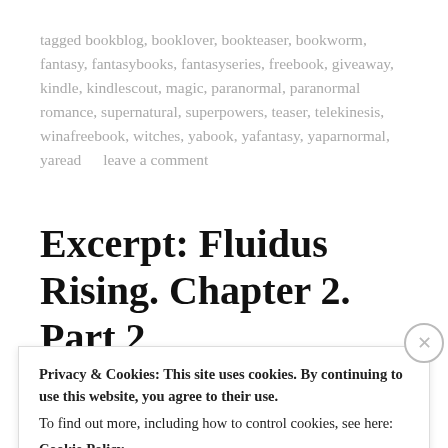tagged bookblog, booklover, bookteaser, bookworm, fantasy, fantasybooks, fantasyseries, freebook, giveaway, kindle, kindlescout, magic, paranormal, paranormal romance, supernatural, superpowers, teaser, telekinesis, winafreebook, witches, yabook, yafantasy, yaparnormal, yaread     leave a comment
Excerpt: Fluidus Rising. Chapter 2. Part 2
november 12, 2017, posted in ardere series, uncategorized
Privacy & Cookies: This site uses cookies. By continuing to use this website, you agree to their use.
To find out more, including how to control cookies, see here:
Cookie Policy
Close and accept